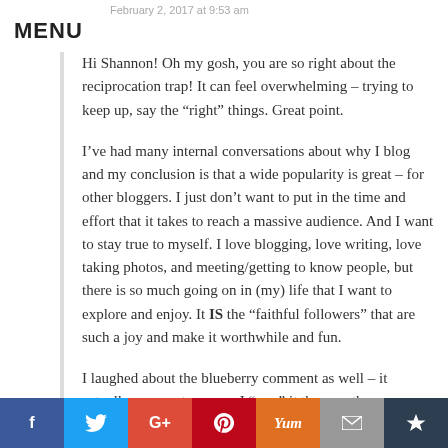February 2, 2017 at 9:53 am
MENU
Hi Shannon! Oh my gosh, you are so right about the reciprocation trap! It can feel overwhelming – trying to keep up, say the “right” things. Great point.
I’ve had many internal conversations about why I blog and my conclusion is that a wide popularity is great – for other bloggers. I just don’t want to put in the time and effort that it takes to reach a massive audience. And I want to stay true to myself. I love blogging, love writing, love taking photos, and meeting/getting to know people, but there is so much going on in (my) life that I want to explore and enjoy. It IS the “faithful followers” that are such a joy and make it worthwhile and fun.
I laughed about the blueberry comment as well – it actually was spot on once I “saw” it the way the commenter did. BTW, the comment was not on this blog (in other words, I didn’t delete the comment), but on One Green Planet where the waffle recipe was recently featured. My gripe
Facebook | Twitter | Google+ | Pinterest | Yum | Email | Crown